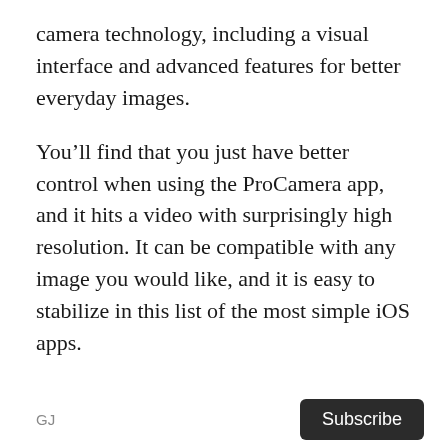camera technology, including a visual interface and advanced features for better everyday images.
You’ll find that you just have better control when using the ProCamera app, and it hits a video with surprisingly high resolution. It can be compatible with any image you would like, and it is easy to stabilize in this list of the most simple iOS apps.
The thing that makes Manual one among the simplest iOS apps is the amount of control it gives you over the photos you take. The manual gives you full control over the cover, ISO, white balance,
GJ   Subscribe